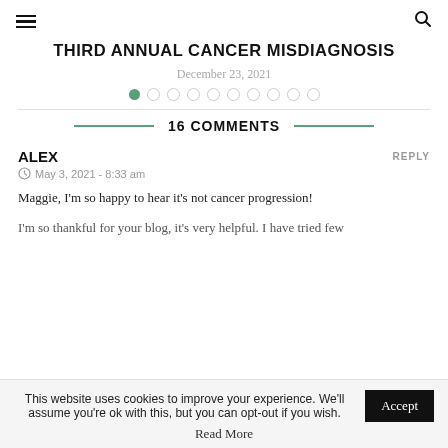≡  🔍
THIRD ANNUAL CANCER MISDIAGNOSIS
December 23, 2021
● ○ ○ ○ ○ ○ ○ ○ ○ ○
16 COMMENTS
ALEX
REPLY
⊙ May 3, 2021 - 8:33 am
Maggie, I'm so happy to hear it's not cancer progression!

I'm so thankful for your blog, it's very helpful. I have tried few
This website uses cookies to improve your experience. We'll assume you're ok with this, but you can opt-out if you wish.
Accept
Read More